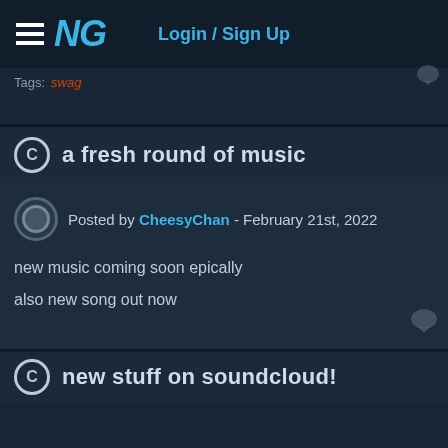NG - Login / Sign Up
Tags: swag
a fresh round of music
Posted by CheesyChan - February 21st, 2022
new music coming soon epically
also new song out now
new stuff on soundcloud!